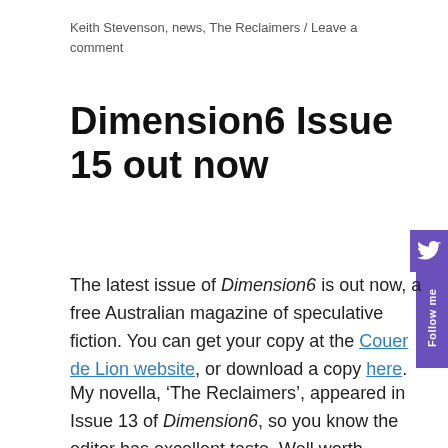Keith Stevenson, news, The Reclaimers / Leave a comment
Dimension6 Issue 15 out now
The latest issue of Dimension6 is out now, a free Australian magazine of speculative fiction. You can get your copy at the Couer de Lion website, or download a copy here.
My novella, ‘The Reclaimers’, appeared in Issue 13 of Dimension6, so you know the editor has excellent taste. Well worth checking out.